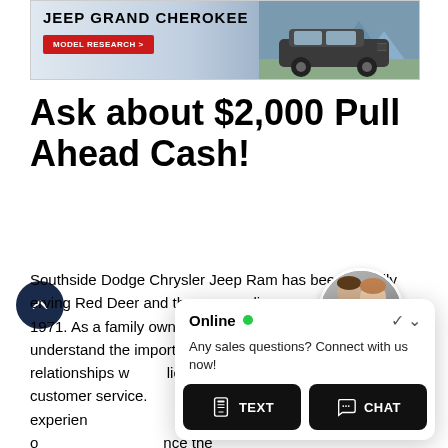[Figure (photo): Jeep Grand Cherokee advertisement banner with car image and 'MODEL RESEARCH' button]
Ask about $2,000 Pull Ahead Cash!
Southside Dodge Chrysler Jeep Ram has been proudly serving Red Deer and the surrounding communities since 1971. As a family owned and operated business, we understand the importance of building positive and impactful relationships with clients, and providing top notch customer service. We have a full team of experienced staff ready to assist you with all of your needs. Experience the Southside Dodge Chrysler Jeep Ram Group, so you can expect attention from our sales team. friendly
[Figure (screenshot): Online chat popup widget with agent avatars, Online status indicator, 'Any sales questions? Connect with us now!' message, TEXT and CHAT buttons]